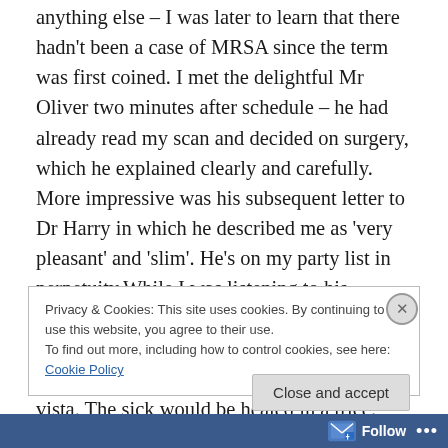anything else – I was later to learn that there hadn't been a case of MRSA since the term was first coined. I met the delightful Mr Oliver two minutes after schedule – he had already read my scan and decided on surgery, which he explained clearly and carefully. More impressive was his subsequent letter to Dr Harry in which he described me as 'very pleasant' and 'slim'. He's on my party list in perpetuity.While I was listening to his professional analysis, my eyes wandered to the fields and hills rolling into the distance behind him. All hospitals should have this vista. The sick would be healed in a trice.
Privacy & Cookies: This site uses cookies. By continuing to use this website, you agree to their use.
To find out more, including how to control cookies, see here: Cookie Policy
Close and accept
Follow ···